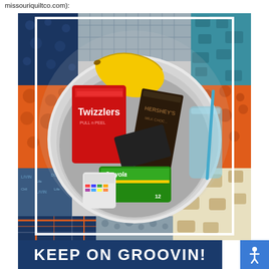missouriquiltco.com):
[Figure (photo): A bowl filled with items including Twizzlers candy, a banana, Hershey's chocolate bar, Crayola crayons box, a clear tumbler with straw, placed on a colorful patchwork quilt fabric background with various patterns including plaid, dots, and novelty prints in navy, orange, teal, and gray.]
KEEP ON GROOVIN!